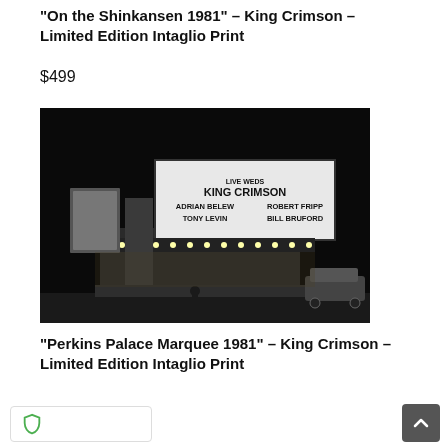“On the Shinkansen 1981” – King Crimson – Limited Edition Intaglio Print
$499
[Figure (photo): Black and white photograph of a theatre marquee at night reading: LIVE WEDS KING CRIMSON ADRIAN BELEW ROBERT FRIPP TONY LEVIN BILL BRUFORD. A lone person stands in the entrance below the lit marquee. A car is visible on the right.]
“Perkins Palace Marquee 1981” – King Crimson – Limited Edition Intaglio Print
$499